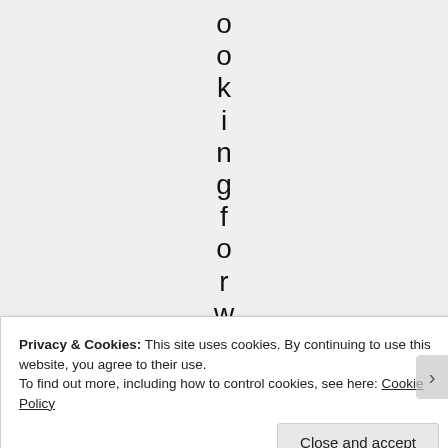ookingforwar
Privacy & Cookies: This site uses cookies. By continuing to use this website, you agree to their use.
To find out more, including how to control cookies, see here: Cookie Policy
Close and accept